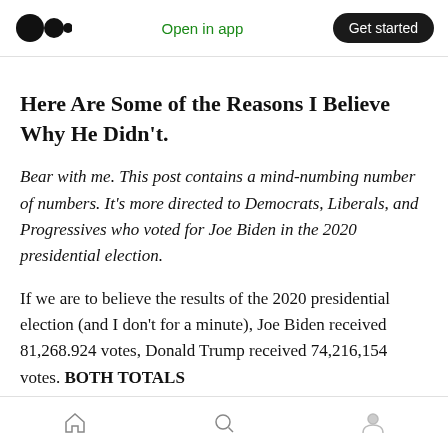Open in app | Get started
Here Are Some of the Reasons I Believe Why He Didn't.
Bear with me. This post contains a mind-numbing number of numbers. It's more directed to Democrats, Liberals, and Progressives who voted for Joe Biden in the 2020 presidential election.
If we are to believe the results of the 2020 presidential election (and I don't for a minute), Joe Biden received 81,268.924 votes, Donald Trump received 74,216,154 votes. BOTH TOTALS
Home | Search | Profile